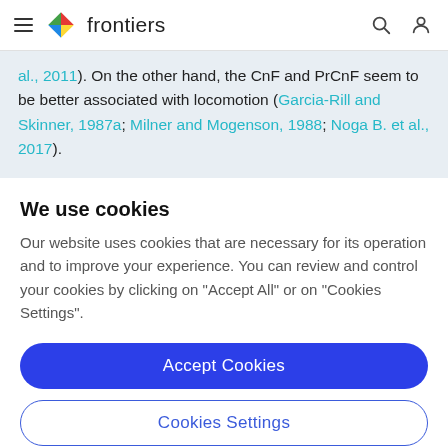frontiers
al., 2011). On the other hand, the CnF and PrCnF seem to be better associated with locomotion (Garcia-Rill and Skinner, 1987a; Milner and Mogenson, 1988; Noga B. et al., 2017).
We use cookies
Our website uses cookies that are necessary for its operation and to improve your experience. You can review and control your cookies by clicking on "Accept All" or on "Cookies Settings".
Accept Cookies
Cookies Settings